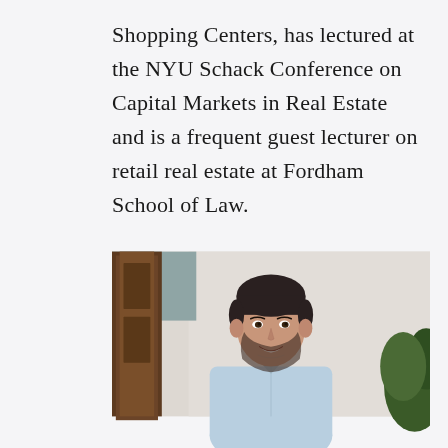Shopping Centers, has lectured at the NYU Schack Conference on Capital Markets in Real Estate and is a frequent guest lecturer on retail real estate at Fordham School of Law.
[Figure (photo): Professional headshot of a man with dark hair and beard, wearing a light blue button-up shirt, smiling, photographed outdoors against a cream/beige wall with a wooden door visible on the left and greenery on the right.]